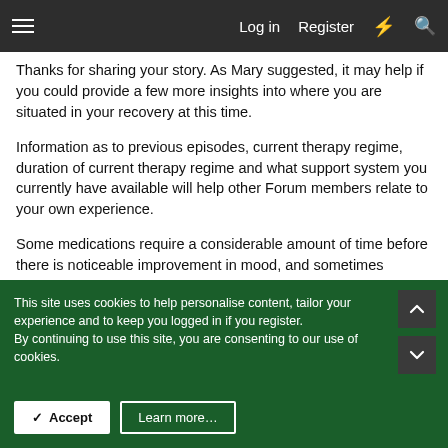Log in  Register
Thanks for sharing your story. As Mary suggested, it may help if you could provide a few more insights into where you are situated in your recovery at this time.
Information as to previous episodes, current therapy regime, duration of current therapy regime and what support system you currently have available will help other Forum members relate to your own experience.
Some medications require a considerable amount of time before there is noticeable improvement in mood, and sometimes medication needs to be fine tuned for dosage and even the actual compound before the right combination is found for your particular brain chemistry.
This site uses cookies to help personalise content, tailor your experience and to keep you logged in if you register.
By continuing to use this site, you are consenting to our use of cookies.